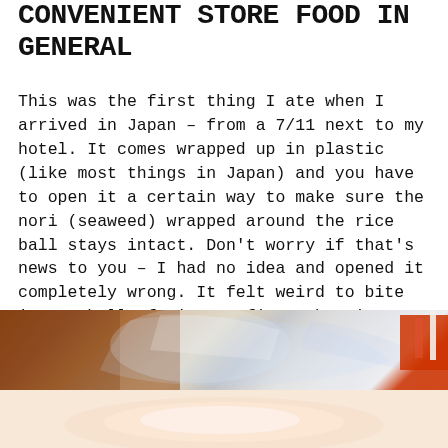CONVENIENT STORE FOOD IN GENERAL
This was the first thing I ate when I arrived in Japan – from a 7/11 next to my hotel. It comes wrapped up in plastic (like most things in Japan) and you have to open it a certain way to make sure the nori (seaweed) wrapped around the rice ball stays intact. Don't worry if that's news to you – I had no idea and opened it completely wrong. It felt weird to bite into a ball of rice at first, but it was so comforting! These were my go-to breakfast throughout my trip.
[Figure (photo): Photo of an onigiri (Japanese rice ball) in its plastic wrapper, showing the transparent plastic packaging and a glimpse of the rice ball and a red item in the background. The bottom portion shows a close-up of the unwrapped rice ball.]